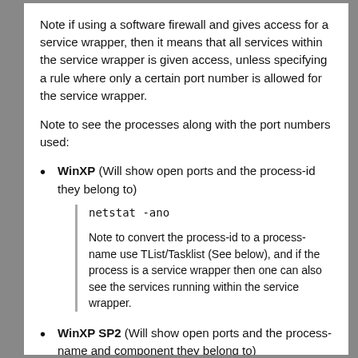Note if using a software firewall and gives access for a service wrapper, then it means that all services within the service wrapper is given access, unless specifying a rule where only a certain port number is allowed for the service wrapper.
Note to see the processes along with the port numbers used:
WinXP (Will show open ports and the process-id they belong to)
netstat -ano
Note to convert the process-id to a process-name use TList/Tasklist (See below), and if the process is a service wrapper then one can also see the services running within the service wrapper.
WinXP SP2 (Will show open ports and the process-name and component they belong to)